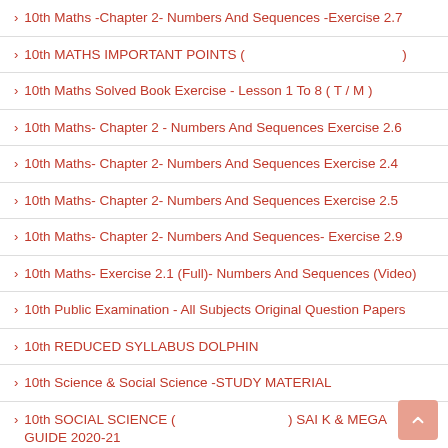10th Maths -Chapter 2- Numbers And Sequences -Exercise 2.7
10th MATHS IMPORTANT POINTS (                              )
10th Maths Solved Book Exercise - Lesson 1 To 8 ( T / M )
10th Maths- Chapter 2 - Numbers And Sequences Exercise 2.6
10th Maths- Chapter 2- Numbers And Sequences Exercise 2.4
10th Maths- Chapter 2- Numbers And Sequences Exercise 2.5
10th Maths- Chapter 2- Numbers And Sequences- Exercise 2.9
10th Maths- Exercise 2.1 (Full)- Numbers And Sequences (Video)
10th Public Examination - All Subjects Original Question Papers
10th REDUCED SYLLABUS DOLPHIN
10th Science & Social Science -STUDY MATERIAL
10th SOCIAL SCIENCE (                    ) SAI K & MEGA GUIDE 2020-21